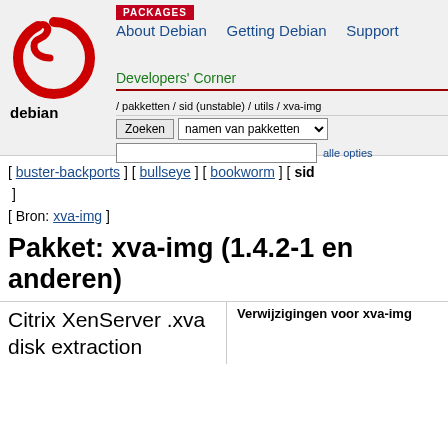PACKAGES
About Debian   Getting Debian   Support
[Figure (logo): Debian swirl logo with 'debian' text below]
Developers' Corner
/ pakketten / sid (unstable) / utils / xva-img
Zoeken  namen van pakketten  alle opties
[ buster-backports ] [ bullseye ] [ bookworm ] [ sid ]
[ Bron: xva-img ]
Pakket: xva-img (1.4.2-1 en anderen)
Citrix XenServer .xva disk extraction
Verwijzigingen voor xva-img